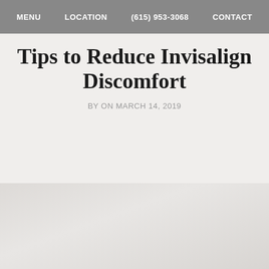MENU   LOCATION   (615) 953-3068   CONTACT
Tips to Reduce Invisalign Discomfort
BY ON MARCH 14, 2019
[Figure (photo): Faint background photo of a dental/teeth-related scene, very light and washed out]